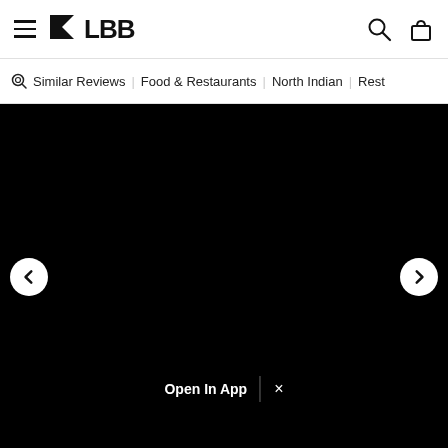LBB navigation bar with hamburger menu, LBB logo, search icon, and bag icon
Similar Reviews | Food & Restaurants | North Indian | Rest
[Figure (other): Black full-width image area (photo not loaded/black background) with left/right carousel navigation buttons and an 'Open In App' banner with close (×) button at the bottom center]